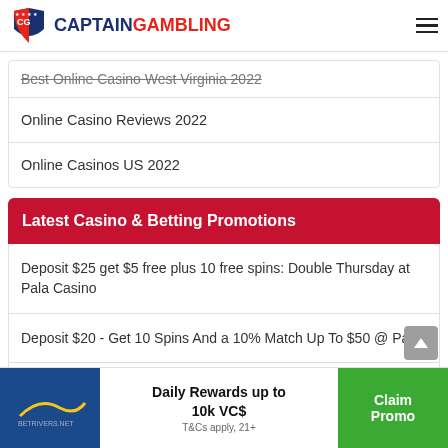CaptainGambling
Best Online Casino West Virginia 2022
Online Casino Reviews 2022
Online Casinos US 2022
Latest Casino & Betting Promotions
Deposit $25 get $5 free plus 10 free spins: Double Thursday at Pala Casino
Deposit $20 - Get 10 Spins And a 10% Match Up To $50 @ Pala
Bet $15 get 10 Million Dollar Slot Free Spins @ Pala Casino
Daily Rewards up to 10k VC$ T&Cs apply, 21+
Claim Promo